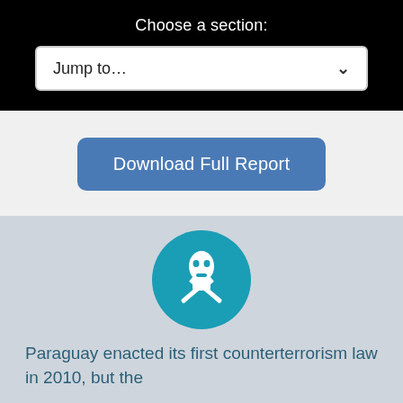Choose a section:
[Figure (screenshot): Dropdown selector UI element with 'Jump to...' placeholder text and chevron arrow]
[Figure (illustration): Blue button labeled 'Download Full Report']
[Figure (illustration): Teal circular icon with white silhouette of masked figure holding crossed rifles (terrorism symbol)]
Paraguay enacted its first counterterrorism law in 2010, but the